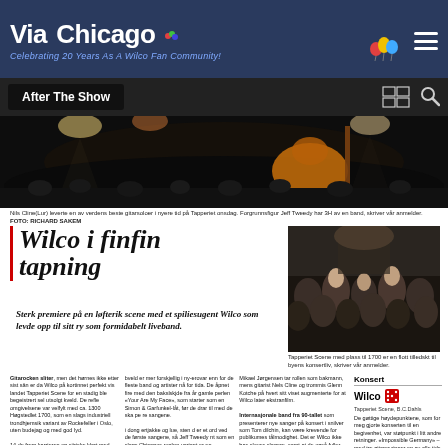Via Chicago — Celebrating 20 Years As A Wilco Fan Community!
After The Show
[Figure (photo): Concert stage photo showing guitar player silhouetted against bright stage lights, dark atmosphere]
Nils Cline(Lur) leverte en av verdens beste gitarsoloer i nyere tid på Tapperiet onsdag. Forgrunnsfigur Jeff Tweedy har 3H av en band, skriver vår anmelder. FOTO: RICHARD SAKEM
Wilco i finfin tapning
Sterk premiere på en løfterik scene med et spiliesugent Wilco som levde opp til sitt ry som formidabelt liveband.
[Figure (photo): Audience photo at Tapperiet venue showing crowd of concert-goers]
Tapperiet Scene med plass til 1700 er en flott tilledskt til byens konsertliv, skriver vår anmelder.
Gitarocken sliter, men det hørnes ikke etter sist sån er da Wilco på kortinnet perfekt vis landet Tapperiet Scene for en stadig ble begeistrert sel utsolgt kveld. De refle omgivelsene var velfylt med ca. 1300 Høgstedlet 1700, som en slags industriell trondhjemsik variant av Rockefeller i Oslo, uten budejag og med god lyd.
14 de frem karrieren og sjiriske klart med mitt B. atsklusal bare åpnet Jeff Tweedy & co. en europeisk miniturné i forkant av den nye plata «Ode to Joy» som kommer i oktober. Første del av konserten ble preget av at bandet prøde seg litt fram, uten å lefle med publikum. Et av serteklene til Wilco er at det vises og høres at de er ikke oppstalt ab å gjøre musikkun.
Internasjonale band fra 90-tallet som presenterer nye sanger på konsert i snilver som Tom dilchin, kan være krevende for publikums tålmodighet. Det er Wilco ikke has sloves slagere. samt at de også fyller konsertene med sanger fra nye av kvanllere. Flere av de nye sangene skiller fint inn i blant, elder favoritteri som «I Am Trying To Break Your Heart» og perler fra et av bandets viktigste tidliger album, 96-klassikerne «Being There».
Konsert
Wilco
Tapperiet Scene, B.C.Dahls
De gøttige høydepunktene, som for meg gjorte konserten til en begivenhet, var støtpunkt i litt andre retninger. «Impossible Germany» – med tre gitarer rinner en av alle tids ypperste gitarsoloer og kammermudikk av høy klasse, koplet av Nels Cline's strenger. Hans gitarstemmer gir det gamle skjellordet «gitarband» – ny og god mening. Les ende mer frenctisk rockn finaleidoeldve monpanist Glenn Kotche fran